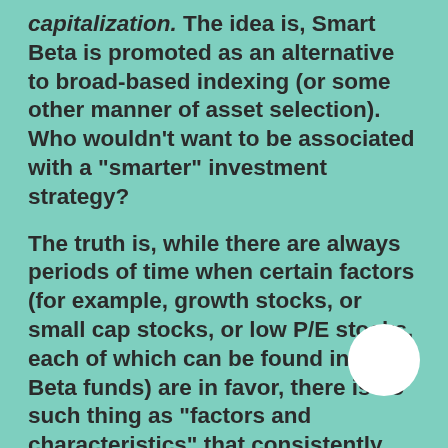capitalization.  The idea is, Smart Beta is promoted as an alternative to broad-based indexing (or some other manner of asset selection). Who wouldn't want to be associated with a "smarter" investment strategy?
The truth is, while there are always periods of time when certain factors (for example, growth stocks, or small cap stocks, or low P/E stocks, each of which can be found in Smart Beta funds) are in favor, there is no such thing as "factors and characteristics" that consistently, over time, outperform a broad index such the S&P 500.  There are many reasons for this including mean-